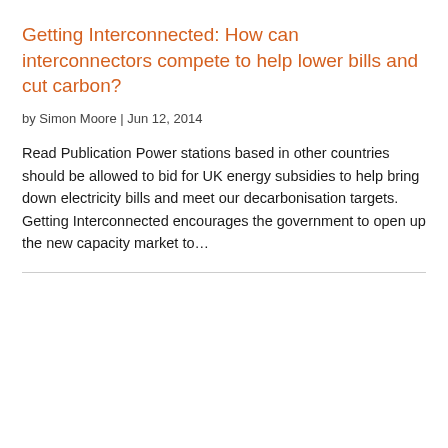Getting Interconnected: How can interconnectors compete to help lower bills and cut carbon?
by Simon Moore | Jun 12, 2014
Read Publication Power stations based in other countries should be allowed to bid for UK energy subsidies to help bring down electricity bills and meet our decarbonisation targets. Getting Interconnected encourages the government to open up the new capacity market to…